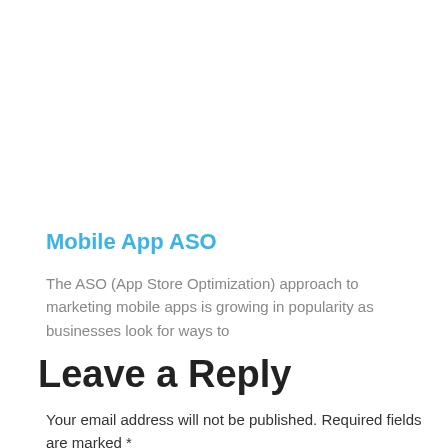Mobile App ASO
The ASO (App Store Optimization) approach to marketing mobile apps is growing in popularity as businesses look for ways to
Leave a Reply
Your email address will not be published. Required fields are marked *